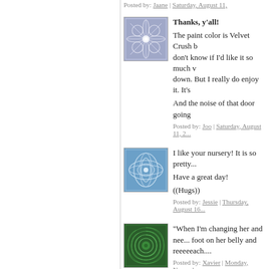Posted by: Jaane | Saturday, August 11,
[Figure (illustration): Square avatar with blue/purple geometric snowflake pattern on light background]
Thanks, y'all!

The paint color is Velvet Crush b... don't know if I'd like it so much v... down. But I really do enjoy it. It's

And the noise of that door going
Posted by: Joo | Saturday, August 11, 2...
[Figure (illustration): Square avatar with blue geometric oval/ellipse pattern on light blue background]
I like your nursery! It is so pretty...

Have a great day!

((Hugs))
Posted by: Jessie | Thursday, August 16...
[Figure (illustration): Square avatar with green spiral/circular pattern on dark green background]
"When I'm changing her and nee... foot on her belly and reeeeeach....
Posted by: Xavier | Monday, November...